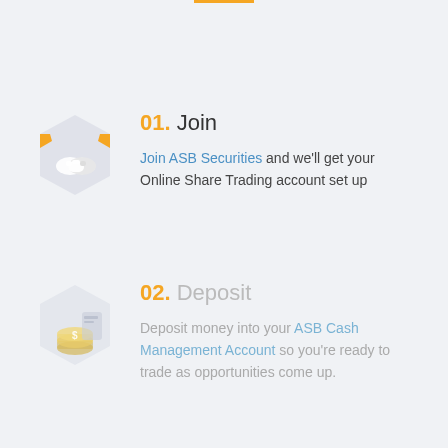01. Join — Join ASB Securities and we'll get your Online Share Trading account set up
02. Deposit — Deposit money into your ASB Cash Management Account so you're ready to trade as opportunities come up.